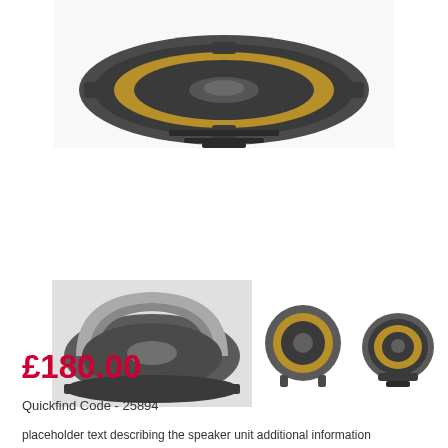[Figure (photo): Close-up top view of a speaker driver unit (woofer) with dark grey frame, golden cone visible, shot from above on white background]
[Figure (photo): Three thumbnail photos of speaker driver: left thumbnail shows front/side angle of large woofer with silver frame; right thumbnails show front-facing and angled views of smaller speaker drivers]
£180.00
Quickfind Code - 25894
placeholder description text cut off at page bottom